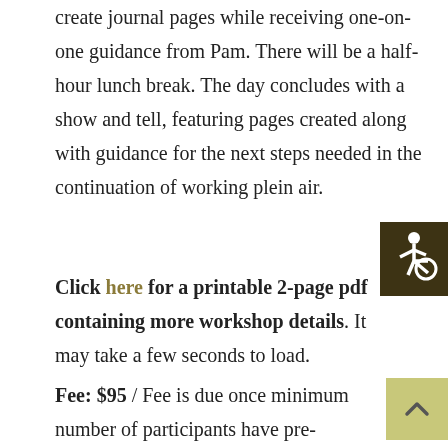create journal pages while receiving one-on-one guidance from Pam. There will be a half-hour lunch break. The day concludes with a show and tell, featuring pages created along with guidance for the next steps needed in the continuation of working plein air.
[Figure (illustration): Wheelchair accessibility icon — white wheelchair user symbol on dark brown/olive square background]
Click here for a printable 2-page pdf containing more workshop details. It may take a few seconds to load.
[Figure (illustration): Back to top button — upward chevron/arrow on yellow-green square background]
Fee: $95 / Fee is due once minimum number of participants have pre-registered (on or before the pre-registration cutoff date of Monday,